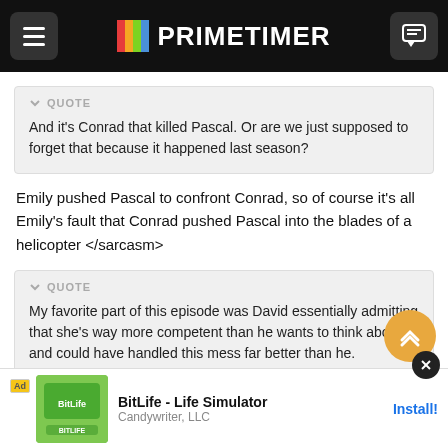PRIMETIMER
QUOTE
And it's Conrad that killed Pascal. Or are we just supposed to forget that because it happened last season?
Emily pushed Pascal to confront Conrad, so of course it's all Emily's fault that Conrad pushed Pascal into the blades of a helicopter </sarcasm>
QUOTE
My favorite part of this episode was David essentially admitting that she's way more competent than he wants to think about and could have handled this mess far better than he.
Yes, th... Jack
"If only... hering
maro... upid old
[Figure (screenshot): BitLife - Life Simulator ad by Candywriter, LLC with Install button]